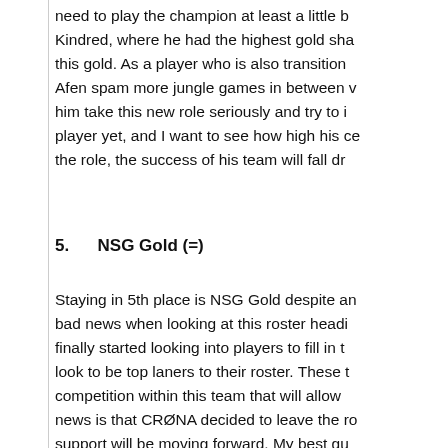need to play the champion at least a little b Kindred, where he had the highest gold sha this gold. As a player who is also transition Afen spam more jungle games in between v him take this new role seriously and try to i player yet, and I want to see how high his ce the role, the success of his team will fall dr
5.      NSG Gold (=)
Staying in 5th place is NSG Gold despite an bad news when looking at this roster headi finally started looking into players to fill in t look to be top laners to their roster. These t competition within this team that will allow news is that CRØNA decided to leave the ro support will be moving forward. My best gu